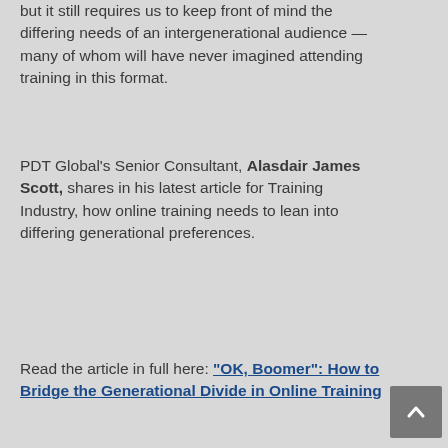but it still requires us to keep front of mind the differing needs of an intergenerational audience — many of whom will have never imagined attending training in this format.
PDT Global's Senior Consultant, Alasdair James Scott, shares in his latest article for Training Industry, how online training needs to lean into differing generational preferences.
Read the article in full here: "OK, Boomer": How to Bridge the Generational Divide in Online Training